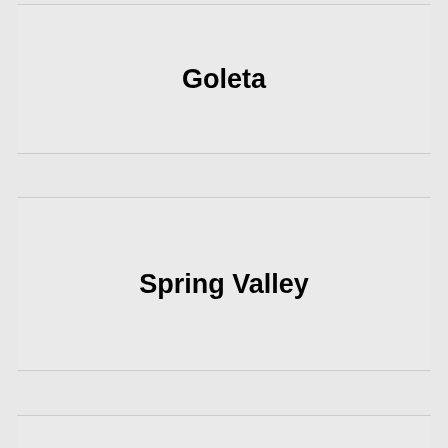Goleta
Spring Valley
Altadena
Suisun City
San Jacinto